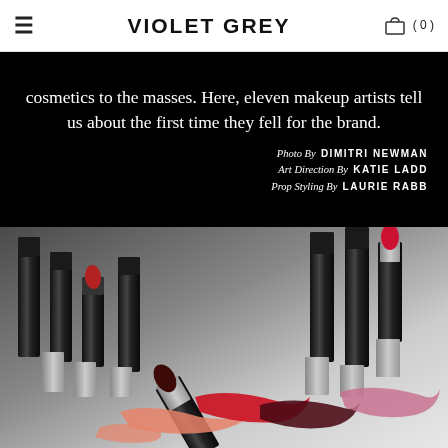VIOLET GREY
cosmetics to the masses. Here, eleven makeup artists tell us about the first time they fell for the brand. Photo By DIMITRI NEWMAN Art Direction By KATIE LADD Prop Styling By LAURIE RABB
[Figure (photo): Flat lay photo of multiple MAC lipsticks in black tubes, some open showing red and dark shades, with lipstick smears/swatches in coral, red, deep burgundy, and pink on a light background.]